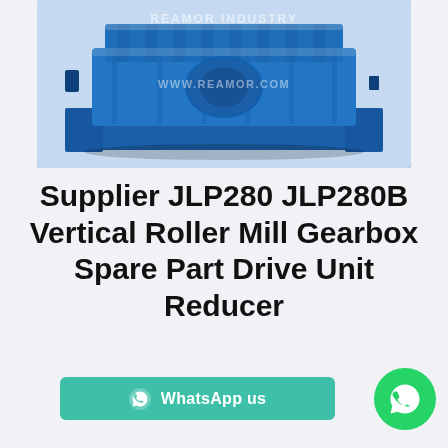[Figure (photo): Photo of a large blue industrial vertical roller mill gearbox / drive unit reducer. The machine casting is painted blue and shows a complex rectangular housing with mounting features. Watermarks read 'REAMOR INDUSTRY' at top and 'WWW.REAMOR.COM' in the middle.]
Supplier JLP280 JLP280B Vertical Roller Mill Gearbox Spare Part Drive Unit Reducer
WhatsApp us